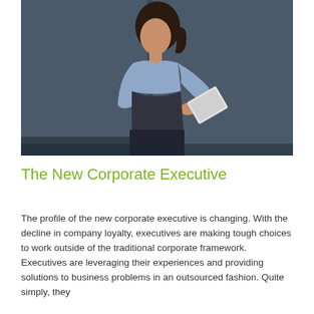[Figure (photo): A woman with dark hair in a ponytail, wearing a light blue short-sleeve blouse and dark skirt, standing in profile view looking down at a tablet device she holds in her hands. She is in front of a dark steel-blue background.]
The New Corporate Executive
The profile of the new corporate executive is changing. With the decline in company loyalty, executives are making tough choices to work outside of the traditional corporate framework. Executives are leveraging their experiences and providing solutions to business problems in an outsourced fashion. Quite simply, they